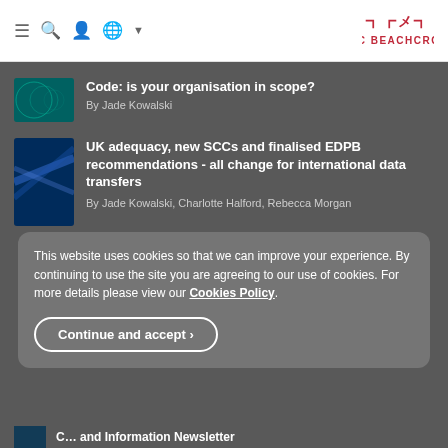DAC BEACHCROFT
Code: is your organisation in scope? By Jade Kowalski
UK adequacy, new SCCs and finalised EDPB recommendations - all change for international data transfers By Jade Kowalski, Charlotte Halford, Rebecca Morgan
This website uses cookies so that we can improve your experience. By continuing to use the site you are agreeing to our use of cookies. For more details please view our Cookies Policy. Continue and accept ›